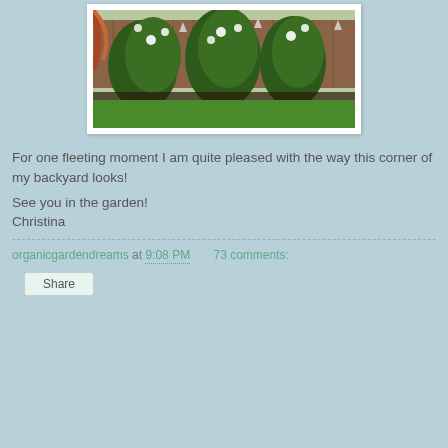[Figure (photo): Garden photo showing a wooden fence with climbing white roses and green shrubs with a grass lawn in the foreground, white border frame]
For one fleeting moment I am quite pleased with the way this corner of my backyard looks!
See you in the garden!
Christina
organicgardendreams at 9:08 PM    73 comments: